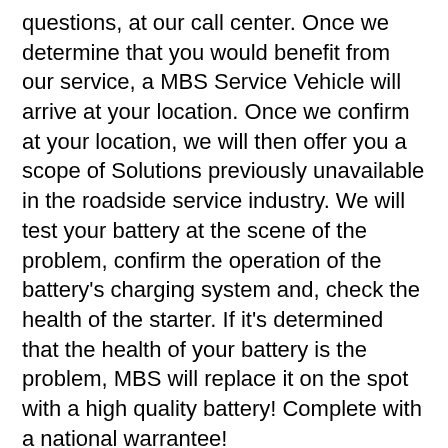questions, at our call center. Once we determine that you would benefit from our service, a MBS Service Vehicle will arrive at your location. Once we confirm at your location, we will then offer you a scope of Solutions previously unavailable in the roadside service industry. We will test your battery at the scene of the problem, confirm the operation of the battery's charging system and, check the health of the starter. If it's determined that the health of your battery is the problem, MBS will replace it on the spot with a high quality battery! Complete with a national warrantee!
No more secondary jump start issues, we solve your battery related problem the first time!
No more securing appointments at the dealership or repair garage!
No more spending time in repair shop waiting